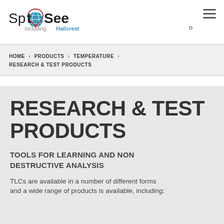SpotSee including Hallcrest
HOME > PRODUCTS > TEMPERATURE > RESEARCH & TEST PRODUCTS
RESEARCH & TEST PRODUCTS
TOOLS FOR LEARNING AND NON DESTRUCTIVE ANALYSIS
TLCs are available in a number of different forms and a wide range of products is available, including: